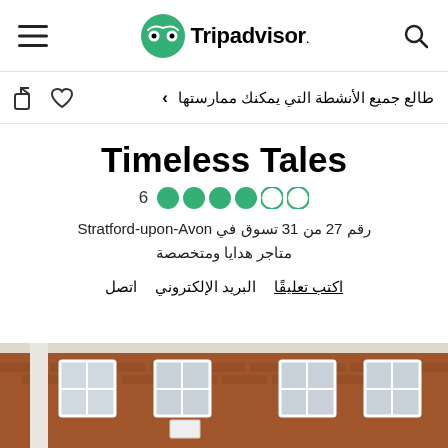Tripadvisor navigation bar with search icon, Tripadvisor logo, and hamburger menu
طالع جميع الأنشطة التي يمكنك ممارستها
Timeless Tales
6  ●●●●○○  رقم 27 من 31 تسوق في Stratford-upon-Avon متاجر هدايا ومتخصصة
اتصل   البريد الإلكتروني   اكتب تعليقًا
[Figure (photo): Exterior of a brick building with white-framed windows and a sign, photographed from street level]